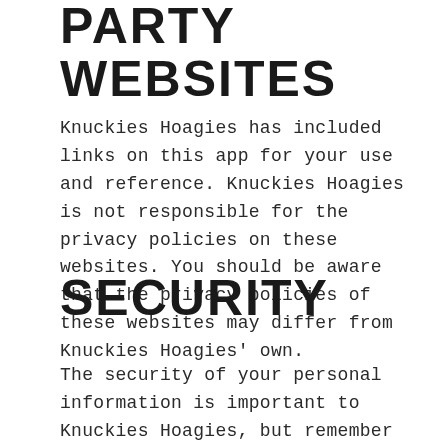PARTY WEBSITES
Knuckies Hoagies has included links on this app for your use and reference. Knuckies Hoagies is not responsible for the privacy policies on these websites. You should be aware that the privacy policies of these websites may differ from Knuckies Hoagies' own.
SECURITY
The security of your personal information is important to Knuckies Hoagies, but remember that no method of transmission over the Internet, or method of electronic